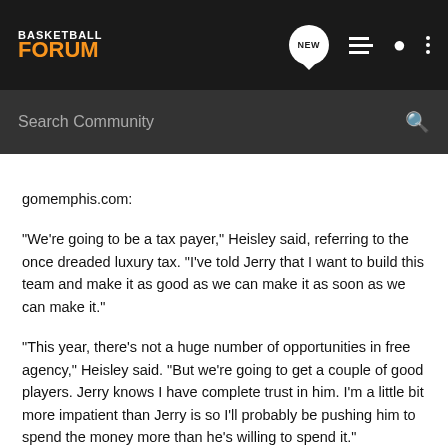[Figure (screenshot): Basketball Forum website navigation bar with logo, NEW icon, list icon, person icon, and dots menu icon on dark background]
[Figure (screenshot): Search Community input bar with magnifying glass icon on dark grey background]
gomemphis.com:
"We're going to be a tax payer," Heisley said, referring to the once dreaded luxury tax. "I've told Jerry that I want to build this team and make it as good as we can make it as soon as we can make it."
"This year, there's not a huge number of opportunities in free agency," Heisley said. "But we're going to get a couple of good players. Jerry knows I have complete trust in him. I'm a little bit more impatient than Jerry is so I'll probably be pushing him to spend the money more than he's willing to spend it."